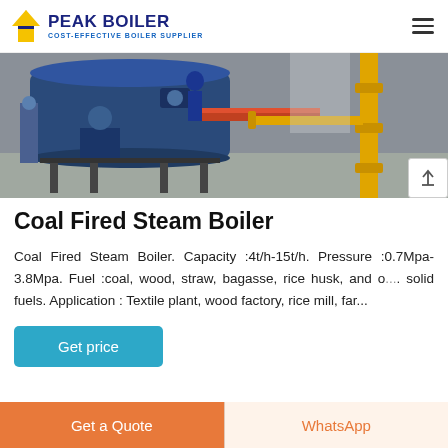PEAK BOILER — COST-EFFECTIVE BOILER SUPPLIER
[Figure (photo): Industrial boiler room with a large blue boiler unit, pipes, and a prominent yellow vertical pipe/stand on the right side, in a grey industrial facility.]
Coal Fired Steam Boiler
Coal Fired Steam Boiler. Capacity :4t/h-15t/h. Pressure :0.7Mpa-3.8Mpa. Fuel :coal, wood, straw, bagasse, rice husk, and other solid fuels. Application : Textile plant, wood factory, rice mill, far...
Get price
Get a Quote
WhatsApp